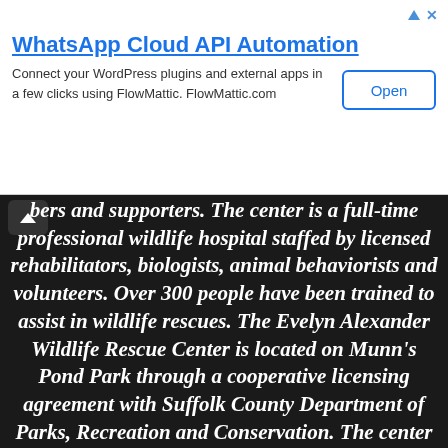[Figure (screenshot): WhatsApp Cloud API Automation advertisement banner with Open button, triangle and X icons in top right corner]
bers and supporters. The center is a full-time professional wildlife hospital staffed by licensed rehabilitators, biologists, animal behaviorists and volunteers. Over 300 people have been trained to assist in wildlife rescues. The Evelyn Alexander Wildlife Rescue Center is located on Munn's Pond Park through a cooperative licensing agreement with Suffolk County Department of Parks, Recreation and Conservation. The center is situated on a greenbelt of public land parcels totaling several thousand acres and stretches from